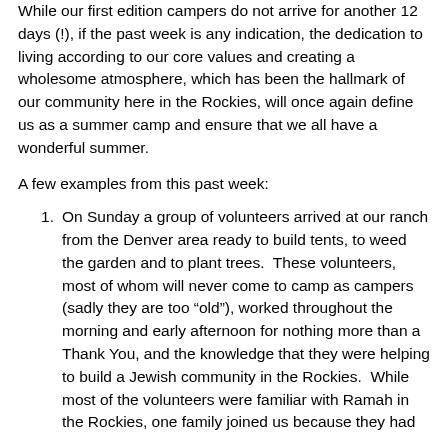While our first edition campers do not arrive for another 12 days (!), if the past week is any indication, the dedication to living according to our core values and creating a wholesome atmosphere, which has been the hallmark of our community here in the Rockies, will once again define us as a summer camp and ensure that we all have a wonderful summer.
A few examples from this past week:
On Sunday a group of volunteers arrived at our ranch from the Denver area ready to build tents, to weed the garden and to plant trees.  These volunteers, most of whom will never come to camp as campers (sadly they are too “old”), worked throughout the morning and early afternoon for nothing more than a Thank You, and the knowledge that they were helping to build a Jewish community in the Rockies.  While most of the volunteers were familiar with Ramah in the Rockies, one family joined us because they had